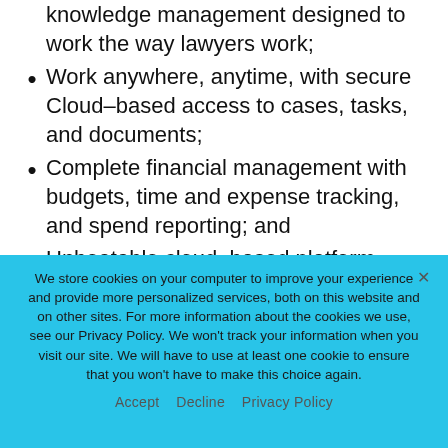knowledge management designed to work the way lawyers work;
Work anywhere, anytime, with secure Cloud–based access to cases, tasks, and documents;
Complete financial management with budgets, time and expense tracking, and spend reporting; and
Unbeatable cloud–based platform security through Salesforce, rated by the
We store cookies on your computer to improve your experience and provide more personalized services, both on this website and on other sites. For more information about the cookies we use, see our Privacy Policy. We won't track your information when you visit our site. We will have to use at least one cookie to ensure that you won't have to make this choice again.
Accept   Decline   Privacy Policy